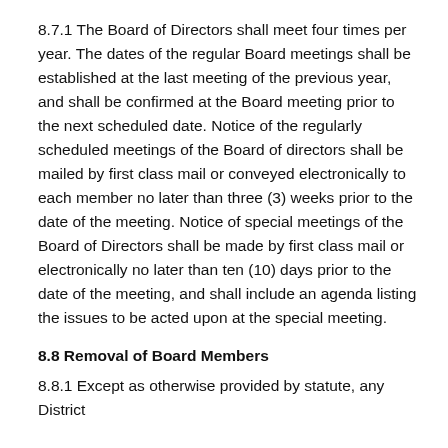8.7.1 The Board of Directors shall meet four times per year. The dates of the regular Board meetings shall be established at the last meeting of the previous year, and shall be confirmed at the Board meeting prior to the next scheduled date. Notice of the regularly scheduled meetings of the Board of directors shall be mailed by first class mail or conveyed electronically to each member no later than three (3) weeks prior to the date of the meeting. Notice of special meetings of the Board of Directors shall be made by first class mail or electronically no later than ten (10) days prior to the date of the meeting, and shall include an agenda listing the issues to be acted upon at the special meeting.
8.8 Removal of Board Members
8.8.1 Except as otherwise provided by statute, any District